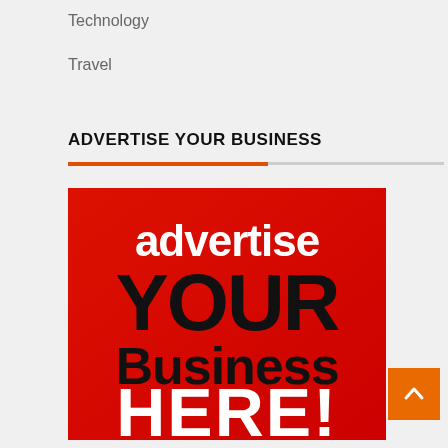Technology
Travel
ADVERTISE YOUR BUSINESS
[Figure (illustration): Red advertisement banner with white and dark text reading 'advertise YOUR Business HERE!']